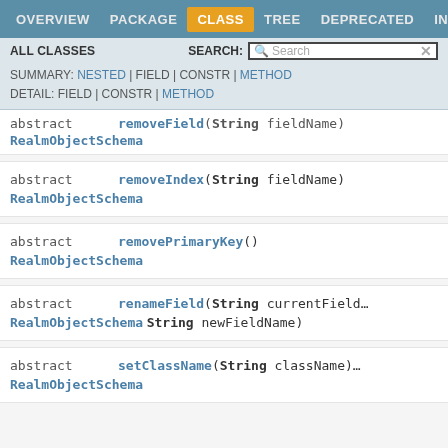OVERVIEW | PACKAGE | CLASS | TREE | DEPRECATED | INDEX
ALL CLASSES   SEARCH: [Search]
SUMMARY: NESTED | FIELD | CONSTR | METHOD
DETAIL: FIELD | CONSTR | METHOD
| Modifier | Method |
| --- | --- |
| abstract RealmObjectSchema | removeField(String fieldName) |
| abstract RealmObjectSchema | removeIndex(String fieldName) |
| abstract RealmObjectSchema | removePrimaryKey() |
| abstract RealmObjectSchema | renameField(String currentField, String newFieldName) |
| abstract RealmObjectSchema | setClassName(String className) |